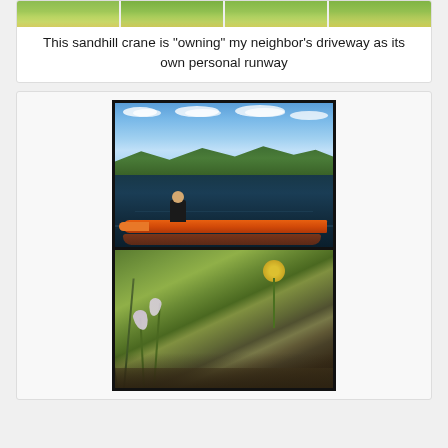[Figure (photo): Strip of photos showing green lawn/grass, appears to be a sandhill crane on a driveway (cropped at top)]
This sandhill crane is "owning" my neighbor's driveway as its own personal runway
[Figure (photo): Person in a red/orange kayak on a calm lake with forested hills and blue sky with clouds reflected in the water]
[Figure (photo): Close-up of small white bell-shaped flowers and a yellow wildflower among green grass and ground cover]